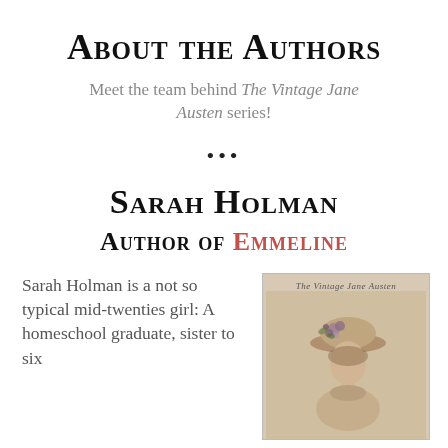About the Authors
Meet the team behind The Vintage Jane Austen series!
•••
Sarah Holman
Author of Emmeline
Sarah Holman is a not so typical mid-twenties girl: A homeschool graduate, sister to six
[Figure (illustration): Book cover for The Vintage Jane Austen series showing a woman wearing a floral hat, sepia-toned illustration style]